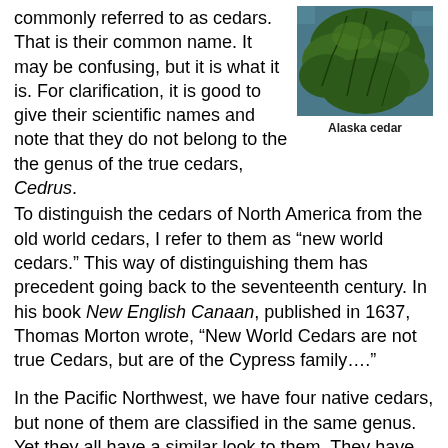commonly referred to as cedars. That is their common name. It may be confusing, but it is what it is. For clarification, it is good to give their scientific names and note that they do not belong to the the genus of the true cedars, Cedrus.
[Figure (photo): Close-up photo of Alaska cedar tree with drooping green foliage branches]
Alaska cedar
To distinguish the cedars of North America from the old world cedars, I refer to them as “new world cedars.” This way of distinguishing them has precedent going back to the seventeenth century. In his book New English Canaan, published in 1637, Thomas Morton wrote, “New World Cedars are not true Cedars, but are of the Cypress family….”
In the Pacific Northwest, we have four native cedars, but none of them are classified in the same genus. Yet they all have a similar look to them. They have similar looking flat, scale-like leaves that grow down the twig like shingles on a roof. You can easily distinguish the native cedars from other conifers just by looking at these leaves. The branchlets have a similar drooping look in varying degrees. And they are all particularly aromatic, although each has its own distinctive aroma.